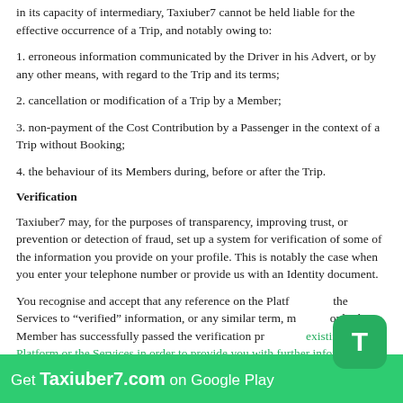in its capacity of intermediary, Taxiuber7 cannot be held liable for the effective occurrence of a Trip, and notably owing to:
1. erroneous information communicated by the Driver in his Advert, or by any other means, with regard to the Trip and its terms;
2. cancellation or modification of a Trip by a Member;
3. non-payment of the Cost Contribution by a Passenger in the context of a Trip without Booking;
4. the behaviour of its Members during, before or after the Trip.
Verification
Taxiuber7 may, for the purposes of transparency, improving trust, or prevention or detection of fraud, set up a system for verification of some of the information you provide on your profile. This is notably the case when you enter your telephone number or provide us with an Identity document.
You recognise and accept that any reference on the Platform or the Services to "verified" information, or any similar term, means only that a Member has successfully passed the verification procedure existing on the Platform or the Services in order to provide you with further information from you are considering travelling. Taxiuber7 cannot guarantee the truthfulness, reliability o